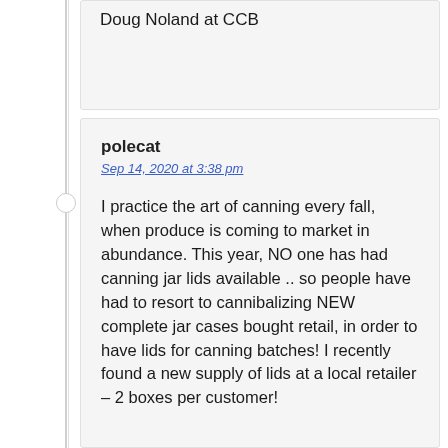Doug Noland at CCB
polecat
Sep 14, 2020 at 3:38 pm
I practice the art of canning every fall, when produce is coming to market in abundance. This year, NO one has had canning jar lids available .. so people have had to resort to cannibalizing NEW complete jar cases bought retail, in order to have lids for canning batches! I recently found a new supply of lids at a local retailer – 2 boxes per customer!